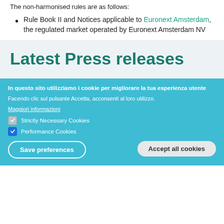The non-harmonised rules are as follows:
Rule Book II and Notices applicable to Euronext Amsterdam, the regulated market operated by Euronext Amsterdam NV
Latest Press releases
In questo sito utilizziamo i cookie per migliorare la tua esperienza utente
Facendo clic sul pulsante Accetta, acconsenti al loro utilizzo.
Maggiori informazioni
Strictly Necessary Cookies
Performance Cookies
Save preferences
Accept all cookies